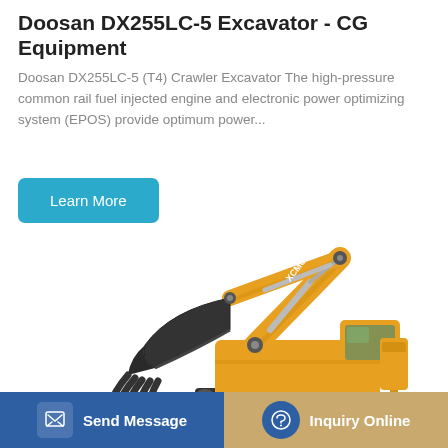Doosan DX255LC-5 Excavator - CG Equipment
Doosan DX255LC-5 (T4) Crawler Excavator The high-pressure common rail fuel injected engine and electronic power optimizing system (EPOS) provide optimum power...
Learn More
[Figure (photo): Yellow crawler excavator (Doosan DX255LC-5) with extended arm and open bucket/grapple attachment, shown on white background]
Send Message
Inquiry Online